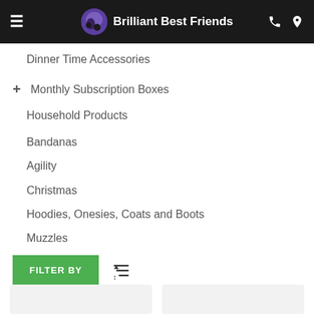Brilliant Best Friends
Dinner Time Accessories
Monthly Subscription Boxes
Household Products
Bandanas
Agility
Christmas
Hoodies, Onesies, Coats and Boots
Muzzles
FILTER BY
[Figure (other): Two product card placeholders (empty grey rectangles)]